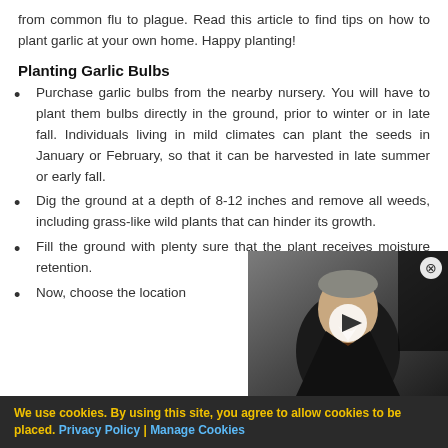from common flu to plague. Read this article to find tips on how to plant garlic at your own home. Happy planting!
Planting Garlic Bulbs
Purchase garlic bulbs from the nearby nursery. You will have to plant them bulbs directly in the ground, prior to winter or in late fall. Individuals living in mild climates can plant the seeds in January or February, so that it can be harvested in late summer or early fall.
Dig the ground at a depth of 8-12 inches and remove all weeds, including grass-like wild plants that can hinder its growth.
Fill the ground with plenty sure that the plant receives moisture retention.
Now, choose the location
[Figure (photo): Video thumbnail showing a man in a suit with a play button overlay]
We use cookies. By using this site, you agree to allow cookies to be placed. Privacy Policy | Manage Cookies